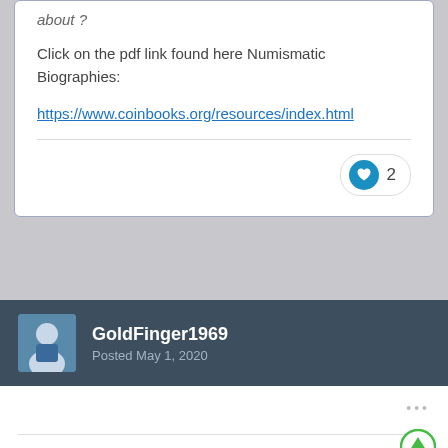about ?
Click on the pdf link found here Numismatic Biographies:
https://www.coinbooks.org/resources/index.html
GoldFinger1969
Posted May 1, 2020
Thanks, DW, that looks promising and useful !